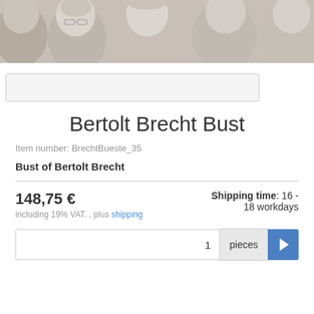[Figure (photo): Header banner showing multiple classical bust sculptures in white/grey tones, cropped to show heads of various historical figures side by side]
Bertolt Brecht Bust
Item number: BrechtBueste_35
Bust of Bertolt Brecht
148,75 €
including 19% VAT. , plus shipping
Shipping time: 16 - 18 workdays
1  pieces